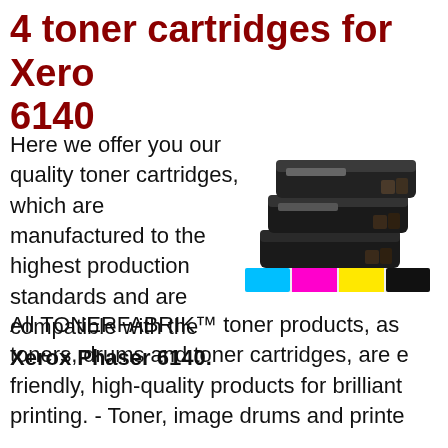4 toner cartridges for Xerox Phaser 6140
Here we offer you our quality toner cartridges, which are manufactured to the highest production standards and are compatible with the Xerox Phaser 6140.
[Figure (photo): Stack of black toner cartridges for Xerox Phaser 6140, with cyan, magenta, yellow, and black color swatches below]
All TONERFABRIK™ toner products, as toners, drums and toner cartridges, are eco-friendly, high-quality products for brilliant printing. - Toner, image drums and printe...